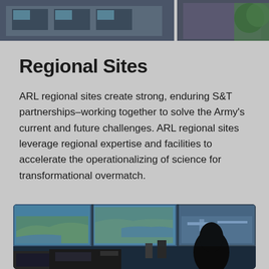[Figure (photo): Exterior photo of buildings with yellow banner at top, showing a modern facility and trees]
Regional Sites
ARL regional sites create strong, enduring S&T partnerships–working together to solve the Army's current and future challenges. ARL regional sites leverage regional expertise and facilities to accelerate the operationalizing of science for transformational overmatch.
[Figure (photo): Interior photo showing a command center with multiple large screens displaying maps and simulations, with a silhouette of a person in the foreground]